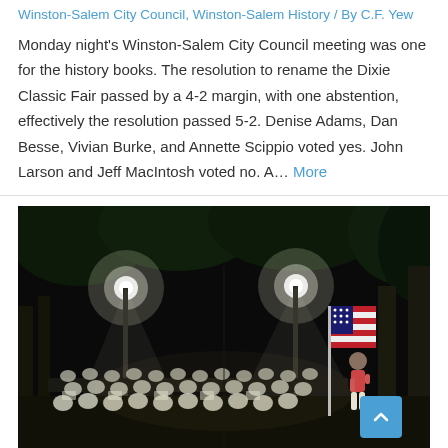Winston-Salem City Council, Winston-Salem History / By C.F. Yew
Monday night's Winston-Salem City Council meeting was one for the history books. The resolution to rename the Dixie Classic Fair passed by a 4-2 margin, with one abstention, effectively the resolution passed 5-2. Denise Adams, Dan Besse, Vivian Burke, and Annette Scippio voted yes. John Larson and Jeff MacIntosh voted no. A… More
[Figure (photo): Night outdoor concert scene with audience in white seated in chairs, a conductor on stage, an American flag, and bright stage lights illuminating trees overhead.]